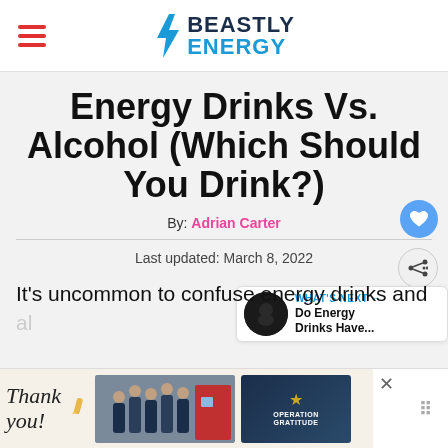Beastly Energy — navigation header with hamburger menu and logo
Energy Drinks Vs. Alcohol (Which Should You Drink?)
By: Adrian Carter
Last updated: March 8, 2022
WHAT'S NEXT → Do Energy Drinks Have...
It's uncommon to confuse energy drinks and al...
[Figure (screenshot): Advertisement banner: Thank You with Operation Gratitude branding showing firefighters]